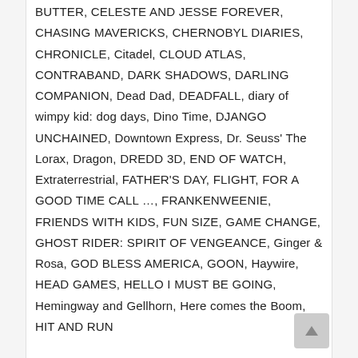BUTTER, CELESTE AND JESSE FOREVER, CHASING MAVERICKS, CHERNOBYL DIARIES, CHRONICLE, Citadel, CLOUD ATLAS, CONTRABAND, DARK SHADOWS, DARLING COMPANION, Dead Dad, DEADFALL, diary of wimpy kid: dog days, Dino Time, DJANGO UNCHAINED, Downtown Express, Dr. Seuss' The Lorax, Dragon, DREDD 3D, END OF WATCH, Extraterrestrial, FATHER'S DAY, FLIGHT, FOR A GOOD TIME CALL …, FRANKENWEENIE, FRIENDS WITH KIDS, FUN SIZE, GAME CHANGE, GHOST RIDER: SPIRIT OF VENGEANCE, Ginger & Rosa, GOD BLESS AMERICA, GOON, Haywire, HEAD GAMES, HELLO I MUST BE GOING, Hemingway and Gellhorn, Here comes the Boom, HIT AND RUN